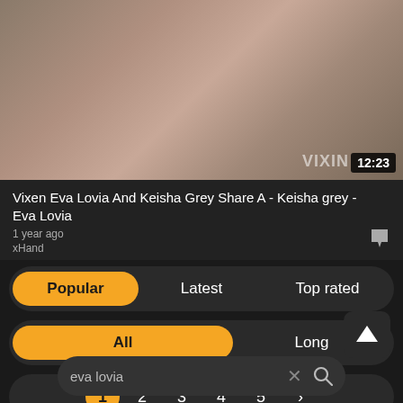[Figure (screenshot): Video thumbnail showing adult content, duration badge 12:23, Vixen watermark]
Vixen Eva Lovia And Keisha Grey Share A - Keisha grey - Eva Lovia
1 year ago
xHand
Popular | Latest | Top rated
All | Long
1 2 3 4 5 >
eva lovia